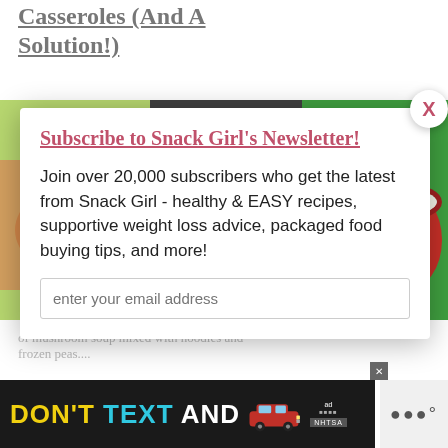Casseroles (And A Solution!)
[Figure (photo): Three food photos side by side: waffles with berries, orange casserole pot with chili, stuffed peppers with cheese]
of mushroom soup mixed with noodles and frozen peas....
Subscribe to Snack Girl's Newsletter!
Join over 20,000 subscribers who get the latest from Snack Girl - healthy & EASY recipes, supportive weight loss advice, packaged food buying tips, and more!
enter your email address
[Figure (infographic): DON'T TEXT AND (Drive) - NHTSA advertisement banner at bottom of page]